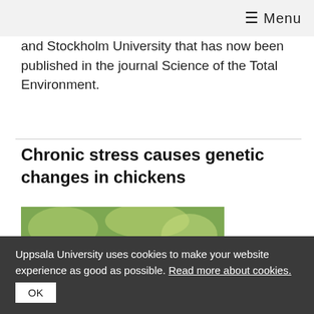≡ Menu
and Stockholm University that has now been published in the journal Science of the Total Environment.
Chronic stress causes genetic changes in chickens
[Figure (photo): Three young chicks (baby chickens) standing on a wooden rail with a green blurred background]
Uppsala University uses cookies to make your website experience as good as possible. Read more about cookies. OK